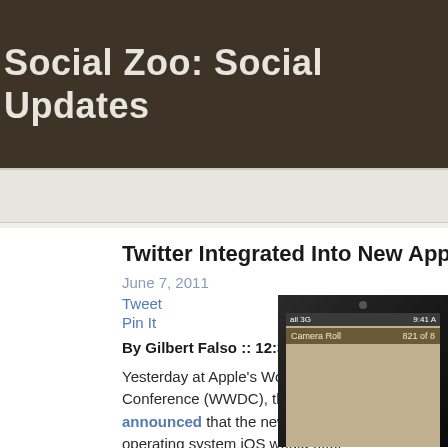Social Zoo: Social Updates
Twitter Integrated Into New Apple Mob...
June 7, 2011
Tweet
Pin It
By Gilbert Falso :: 12:39 PM
Yesterday at Apple's World Wide Developer Conference (WWDC), the company announced that the new version of its mobile operating system iOS would offer
[Figure (photo): Photo of an iPhone showing Camera Roll screen with '821 of...' visible, status bar showing 3G and 9:41 AM]